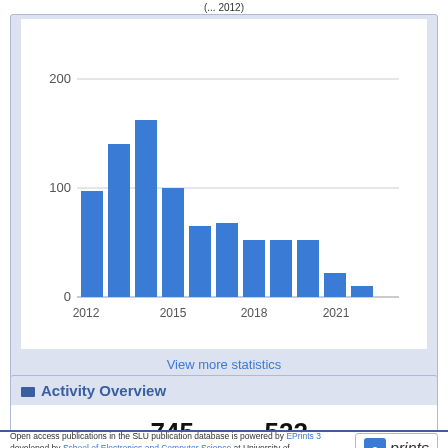(... 2012)
[Figure (bar-chart): Downloads per year]
View more statistics
Activity Overview
745 Downloads
522 Hits
Open access publications in the SLU publication database is powered by EPrints 3 developed by School of Electronics and Computer Science at University of Southampton. More information.